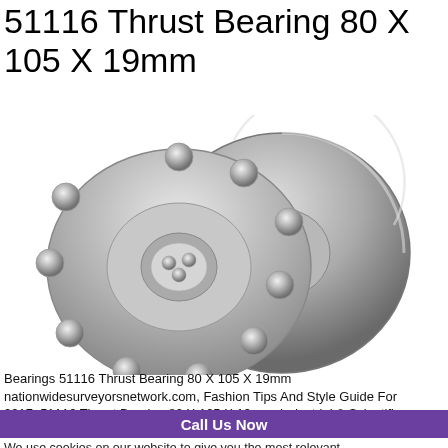51116 Thrust Bearing 80 X 105 X 19mm
[Figure (photo): Two 51116 thrust ball bearings — one showing the ball-and-cage assembly face-on, overlapping with a flat thrust washer ring positioned at an angle, both in polished steel finish.]
Bearings 51116 Thrust Bearing 80 X 105 X 19mm nationwidesurveyorsnetwork.com, Fashion Tips And Style Guide For 2017, 51116 Thrust Bearing 80 X 105 X 19mm: Industrial & Scientific
Call Us Now
We use cookies on our website to give you the most relevant